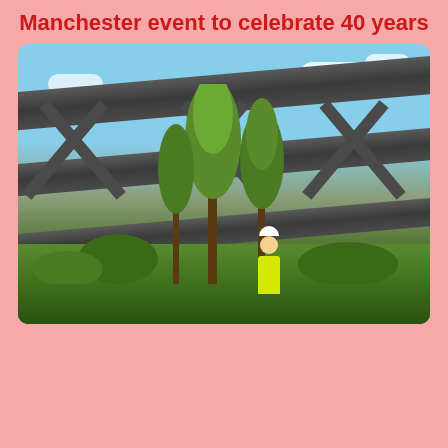Manchester event to celebrate 40 years
[Figure (photo): A person in a yellow hi-vis vest and white hard hat stands among young trees beneath large industrial steel bridge girders and cross-braced beams, with blue sky and clouds visible above. Green vegetation surrounds the base.]